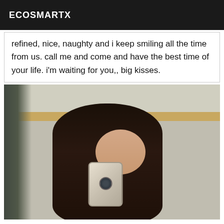ECOSMARTX
refined, nice, naughty and i keep smiling all the time from us. call me and come and have the best time of your life. i'm waiting for you,, big kisses.
[Figure (photo): A woman with long dark hair taking a bathroom mirror selfie with a smartphone, wearing minimal clothing. Tiled bathroom background with a decorative gold stripe.]